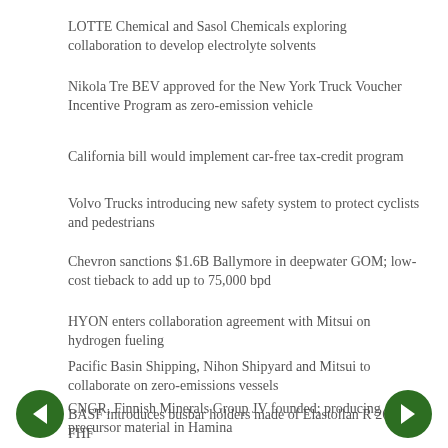LOTTE Chemical and Sasol Chemicals exploring collaboration to develop electrolyte solvents
Nikola Tre BEV approved for the New York Truck Voucher Incentive Program as zero-emission vehicle
California bill would implement car-free tax-credit program
Volvo Trucks introducing new safety system to protect cyclists and pedestrians
Chevron sanctions $1.6B Ballymore in deepwater GOM; low-cost tieback to add up to 75,000 bpd
HYON enters collaboration agreement with Mitsui on hydrogen fueling
Pacific Basin Shipping, Nihon Shipyard and Mitsui to collaborate on zero-emissions vessels
BASF introduces busbar holders made of Elastollan R 2600 FHF
CNGR, Finnish Minerals Group JV founded; producing precursor material in Hamina